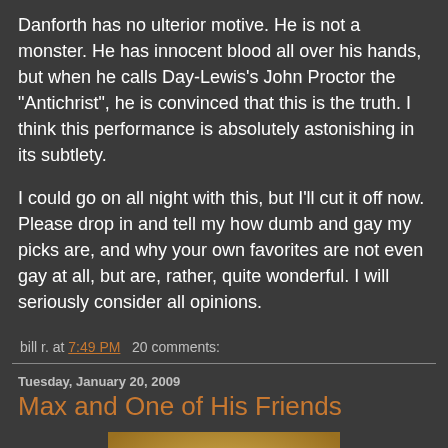Danforth has no ulterior motive. He is not a monster. He has innocent blood all over his hands, but when he calls Day-Lewis's John Proctor the "Antichrist", he is convinced that this is the truth. I think this performance is absolutely astonishing in its subtlety.
I could go on all night with this, but I'll cut it off now. Please drop in and tell my how dumb and gay my picks are, and why your own favorites are not even gay at all, but are, rather, quite wonderful. I will seriously consider all opinions.
bill r. at 7:49 PM   20 comments:
Tuesday, January 20, 2009
Max and One of His Friends
[Figure (photo): A dark silhouette of a creature or character with a rounded head against a warm golden/tan background, resembling a puppet or animal figure.]